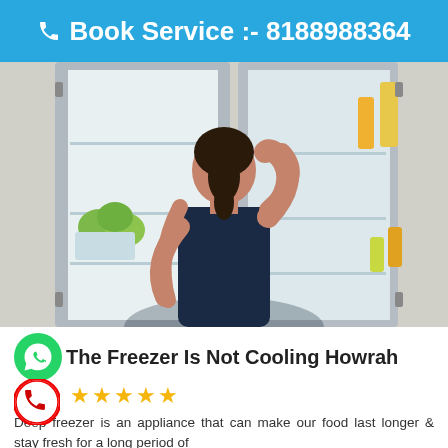Book Service :- 8188988364
[Figure (photo): Woman seen from behind looking into an open side-by-side refrigerator stocked with food and drinks, scratching her head in confusion]
The Freezer Is Not Cooling Howrah
★★★★★
Deep freezer is an appliance that can make our food last longer & stay fresh for a long period of